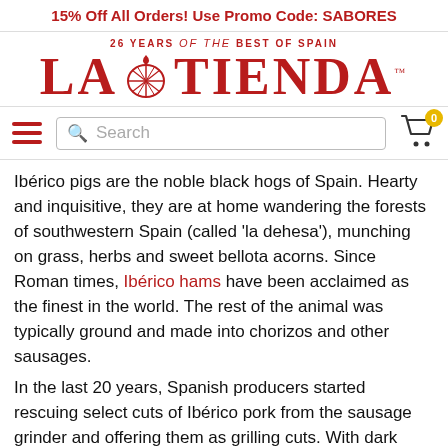15% Off All Orders! Use Promo Code: SABORES
[Figure (logo): La Tienda logo with tagline '26 YEARS of the BEST OF SPAIN' and shell icon]
[Figure (screenshot): Navigation bar with hamburger menu, search box, and shopping cart with 0 items]
Ibérico pigs are the noble black hogs of Spain. Hearty and inquisitive, they are at home wandering the forests of southwestern Spain (called 'la dehesa'), munching on grass, herbs and sweet bellota acorns. Since Roman times, Ibérico hams have been acclaimed as the finest in the world. The rest of the animal was typically ground and made into chorizos and other sausages.
In the last 20 years, Spanish producers started rescuing select cuts of Ibérico pork from the sausage grinder and offering them as grilling cuts. With dark flavorful meat and meltingly luxurious marbling, these cuts are now celebra… I've even tried Ibérico pork carpaccio – it was amazing…
7. Gazpacho And…
Another icon from Spain, gazpacho…
[Figure (photo): Photo of food items, partially visible at bottom left]
[Figure (logo): TrustedSite CERTIFIED SECURE badge]
[Figure (other): Chat widget button, dark red circle with speech bubble icon]
[Figure (other): Scroll to top button, grey circle with upward arrow]